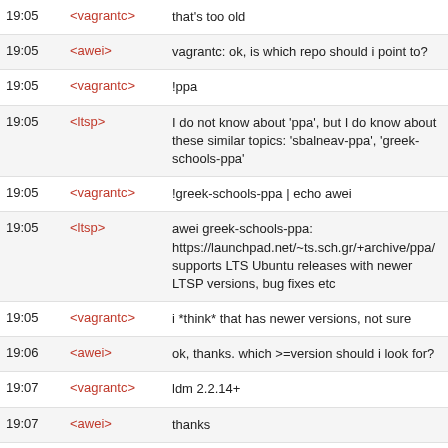| Time | Nick | Message |
| --- | --- | --- |
| 19:05 | <vagrantc> | that's too old |
| 19:05 | <awei> | vagrantc: ok, is which repo should i point to? |
| 19:05 | <vagrantc> | !ppa |
| 19:05 | <ltsp> | I do not know about 'ppa', but I do know about these similar topics: 'sbalneav-ppa', 'greek-schools-ppa' |
| 19:05 | <vagrantc> | !greek-schools-ppa | echo awei |
| 19:05 | <ltsp> | awei greek-schools-ppa: https://launchpad.net/~ts.sch.gr/+archive/ppa/ supports LTS Ubuntu releases with newer LTSP versions, bug fixes etc |
| 19:05 | <vagrantc> | i *think* that has newer versions, not sure |
| 19:06 | <awei> | ok, thanks. which >=version should i look for? |
| 19:07 | <vagrantc> | ldm 2.2.14+ |
| 19:07 | <awei> | thanks |